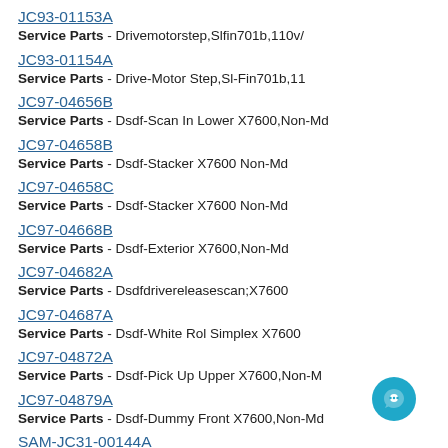JC93-01153A
Service Parts - Drivemotorstep,Slfin701b,110v/
JC93-01154A
Service Parts - Drive-Motor Step,Sl-Fin701b,11
JC97-04656B
Service Parts - Dsdf-Scan In Lower X7600,Non-Md
JC97-04658B
Service Parts - Dsdf-Stacker X7600 Non-Md
JC97-04658C
Service Parts - Dsdf-Stacker X7600 Non-Md
JC97-04668B
Service Parts - Dsdf-Exterior X7600,Non-Md
JC97-04682A
Service Parts - Dsdfdrivereleasescan;X7600
JC97-04687A
Service Parts - Dsdf-White Rol Simplex X7600
JC97-04872A
Service Parts - Dsdf-Pick Up Upper X7600,Non-M
JC97-04879A
Service Parts - Dsdf-Dummy Front X7600,Non-Md
SAM-JC31-00144A